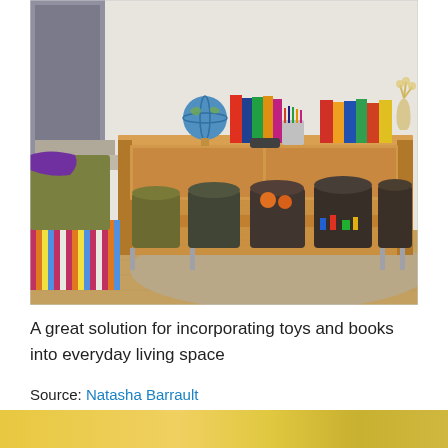[Figure (photo): A wooden storage shelf/credenza with multiple brown and olive-colored bins underneath, topped with books, a globe, and decorative items. Floor cushions with colorful stripes are visible on the left. The room has a warm wood floor and light carpet area. Stairs are partially visible in the upper left.]
A great solution for incorporating toys and books into everyday living space
Source: Natasha Barrault